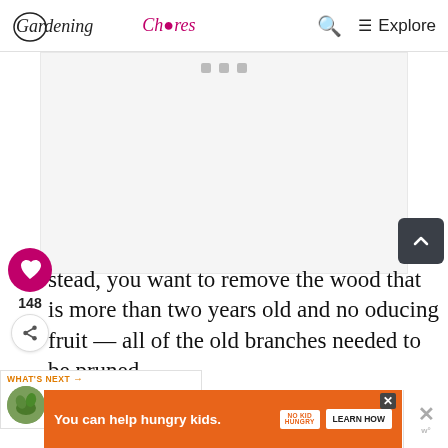Gardening Chores — Q ≡ Explore
[Figure (screenshot): Ad placeholder area with three small gray squares at top]
[Figure (screenshot): Dark gray scroll-to-top button with upward chevron arrow]
[Figure (screenshot): Pink/magenta heart button with like count 148 and share button]
stead, you want to remove the wood that is more than two years old and no oducing fruit — all of the old branches needed to be pruned.
[Figure (screenshot): WHAT'S NEXT → Everything You Need to... panel with circular thumbnail]
[Figure (screenshot): Orange banner ad: You can help hungry kids. No Kid Hungry logo. LEARN HOW button. X close button.]